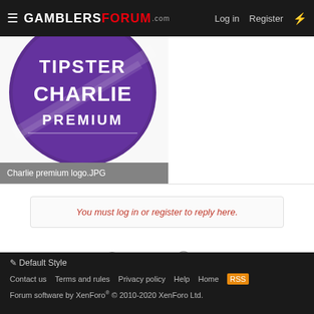GamblersForum.com  Log in  Register
[Figure (logo): Purple circular logo with white text reading TIPSTER CHARLIE PREMIUM]
Charlie premium logo.JPG
You must log in or register to reply here.
Share:
General Discussion
Default Style  Contact us  Terms and rules  Privacy policy  Help  Home  Forum software by XenForo® © 2010-2020 XenForo Ltd.